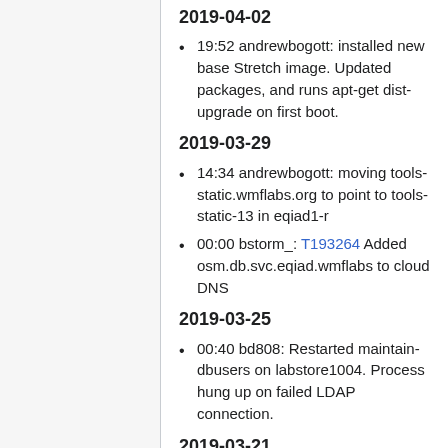2019-04-02
19:52 andrewbogott: installed new base Stretch image. Updated packages, and runs apt-get dist-upgrade on first boot.
2019-03-29
14:34 andrewbogott: moving tools-static.wmflabs.org to point to tools-static-13 in eqiad1-r
00:00 bstorm_: T193264 Added osm.db.svc.eqiad.wmflabs to cloud DNS
2019-03-25
00:40 bd808: Restarted maintain-dbusers on labstore1004. Process hung up on failed LDAP connection.
2019-03-21